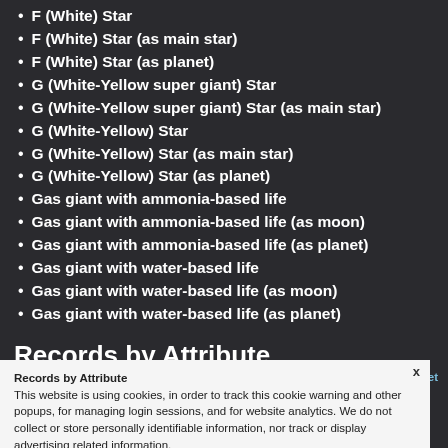F (White) Star
F (White) Star (as main star)
F (White) Star (as planet)
G (White-Yellow super giant) Star
G (White-Yellow super giant) Star (as main star)
G (White-Yellow) Star
G (White-Yellow) Star (as main star)
G (White-Yellow) Star (as planet)
Gas giant with ammonia-based life
Gas giant with ammonia-based life (as moon)
Gas giant with ammonia-based life (as planet)
Gas giant with water-based life
Gas giant with water-based life (as moon)
Gas giant with water-based life (as planet)
Records by Attribute
This website is using cookies, in order to track this cookie warning and other popups, for managing login sessions, and for website analytics. We do not collect or store personally identifiable information, nor track or display advertising related information.